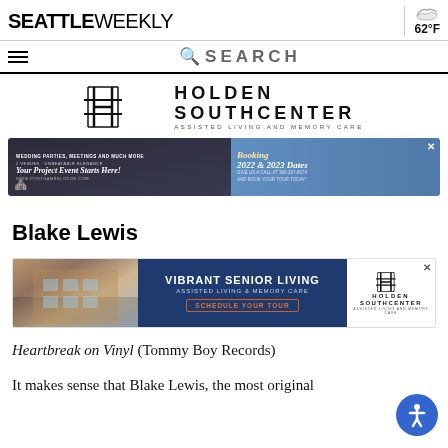SEATTLE WEEKLY | 62°F
[Figure (logo): Holden Southcenter Assisted Living and Memory Care logo with H icon]
[Figure (photo): Port Gamble advertisement - Wedding, Parties, Meetings and Much More promotional banner for 2022 & 2023 Dates]
Blake Lewis
[Figure (photo): Vibrant Senior Living advertisement - Holden Southcenter, Assisted Living & Memory Care, Schedule Your Tour]
Heartbreak on Vinyl (Tommy Boy Records)
It makes sense that Blake Lewis, the most original